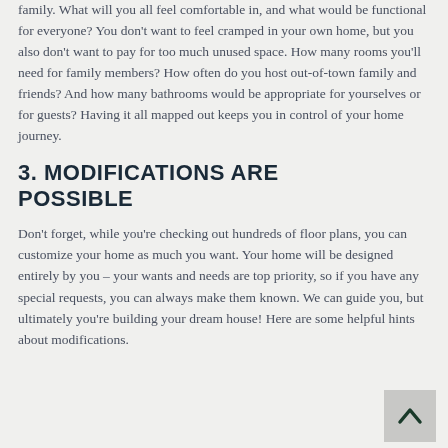family. What will you all feel comfortable in, and what would be functional for everyone? You don't want to feel cramped in your own home, but you also don't want to pay for too much unused space. How many rooms you'll need for family members? How often do you host out-of-town family and friends? And how many bathrooms would be appropriate for yourselves or for guests? Having it all mapped out keeps you in control of your home journey.
3. MODIFICATIONS ARE POSSIBLE
Don't forget, while you're checking out hundreds of floor plans, you can customize your home as much you want. Your home will be designed entirely by you – your wants and needs are top priority, so if you have any special requests, you can always make them known. We can guide you, but ultimately you're building your dream house! Here are some helpful hints about modifications.